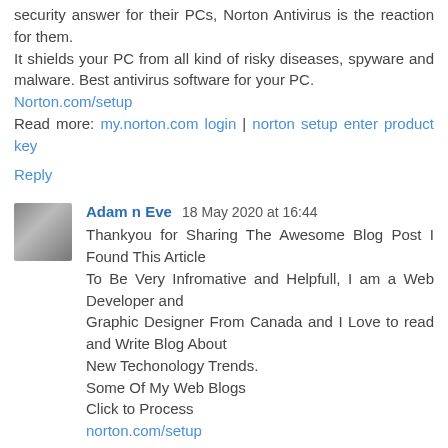security answer for their PCs, Norton Antivirus is the reaction for them.
It shields your PC from all kind of risky diseases, spyware and malware. Best antivirus software for your PC.
Norton.com/setup
Read more: my.norton.com login | norton setup enter product key
Reply
Adam n Eve  18 May 2020 at 16:44
Thankyou for Sharing The Awesome Blog Post I Found This Article
To Be Very Infromative and Helpfull, I am a Web Developer and
Graphic Designer From Canada and I Love to read and Write Blog About
New Techonology Trends.
Some Of My Web Blogs
Click to Process
norton.com/setup